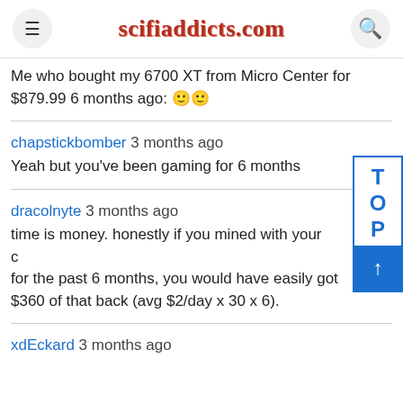scifiaddicts.com
Me who bought my 6700 XT from Micro Center for $879.99 6 months ago: 🙂🙂
chapstickbomber 3 months ago
Yeah but you've been gaming for 6 months
dracolnyte 3 months ago
time is money. honestly if you mined with your card for the past 6 months, you would have easily got $360 of that back (avg $2/day x 30 x 6).
xdEckard 3 months ago